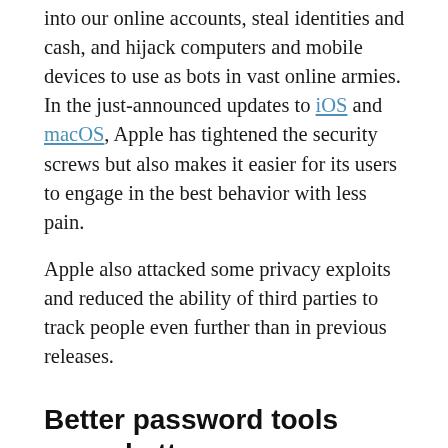into our online accounts, steal identities and cash, and hijack computers and mobile devices to use as bots in vast online armies. In the just-announced updates to iOS and macOS, Apple has tightened the security screws but also makes it easier for its users to engage in the best behavior with less pain.
Apple also attacked some privacy exploits and reduced the ability of third parties to track people even further than in previous releases.
Better password tools mean better passwords used
Security experts recommend that users employ a unique, strong password for every site or service, and enable two-factor authentication (2FA) wherever